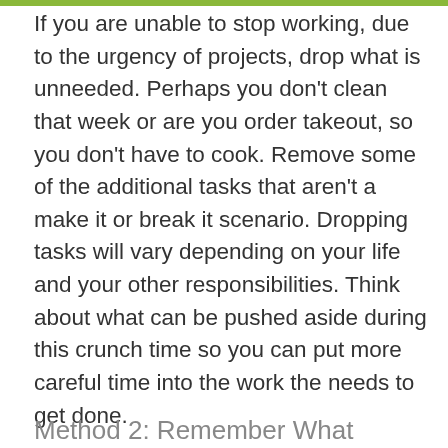If you are unable to stop working, due to the urgency of projects, drop what is unneeded. Perhaps you don't clean that week or are you order takeout, so you don't have to cook. Remove some of the additional tasks that aren't a make it or break it scenario. Dropping tasks will vary depending on your life and your other responsibilities. Think about what can be pushed aside during this crunch time so you can put more careful time into the work the needs to get done.
Method 2: Remember What